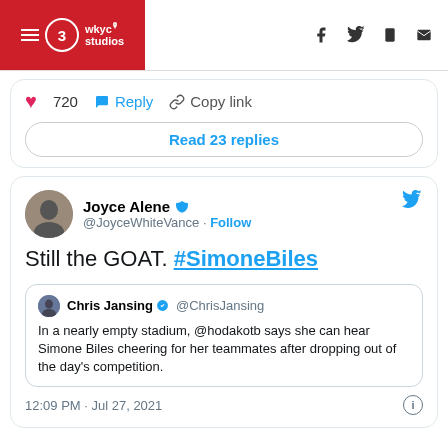3 wkyc studios
720  Reply  Copy link
Read 23 replies
Joyce Alene @JoyceWhiteVance · Follow
Still the GOAT. #SimoneBiles
Chris Jansing @ChrisJansing In a nearly empty stadium, @hodakotb says she can hear Simone Biles cheering for her teammates after dropping out of the day's competition.
12:09 PM · Jul 27, 2021